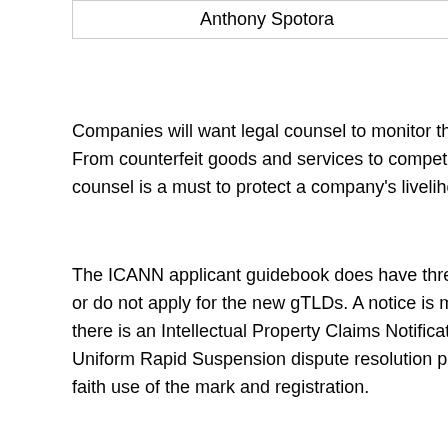| Anthony Spotora |
But along with the race to
Companies will want legal counsel to monitor that unauthor... From counterfeit goods and services to competitors applyin... counsel is a must to protect a company's livelihood.
The ICANN applicant guidebook does have three trademark or do not apply for the new gTLDs. A notice is made during there is an Intellectual Property Claims Notification service Uniform Rapid Suspension dispute resolution procedure wh... faith use of the mark and registration.
“A qualified trademark attorney is essential to register, prote... guidelines,” said Spotora.
The Law Offices of Spotora & Associates, P.C. has decades